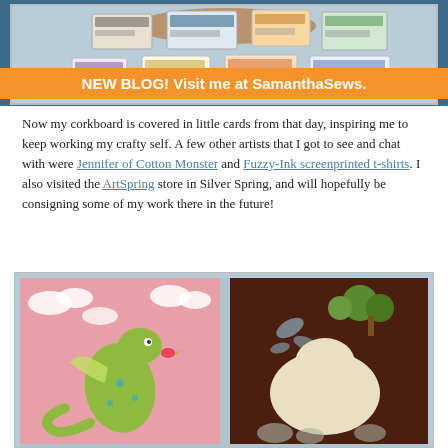[Figure (photo): Photo of a corkboard covered in business cards and small cards, viewed from above on a blue-gray background.]
NEW BLOG! Visit me at SamanthaSews.
Now my corkboard is covered in little cards from that day, inspiring me to keep working my crafty self. A few other artists that I got to see and chat with were Jennifer of Cotton Monster and Fuzzy-Ink screenprinted t-shirts. I also visited the ArtSpring store in Silver Spring, and will hopefully be consigning some of my work there in the future!
[Figure (photo): Two illustrated fabric art pieces: left shows a green dragon on a pink background with clouds, right shows a pale animal shape on a dark brown background with trees and leaves.]